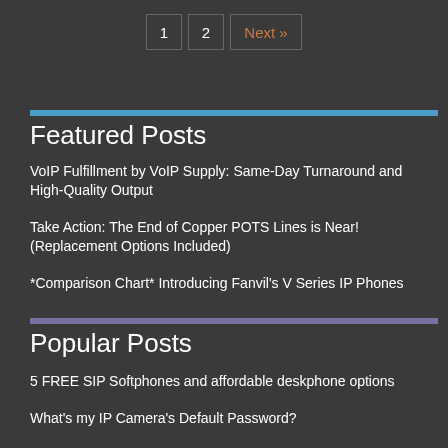1  2  Next »
Featured Posts
VoIP Fulfillment by VoIP Supply: Same-Day Turnaround and High-Quality Output
Take Action: The End of Copper POTS Lines is Near! (Replacement Options Included)
*Comparison Chart* Introducing Fanvil's V Series IP Phones
Popular Posts
5 FREE SIP Softphones and affordable deskphone options
What's my IP Camera's Default Password?
FXS and FXO – You should be in the know...